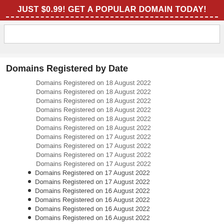JUST $0.99! GET A POPULAR DOMAIN TODAY!
Domains Registered by Date
Domains Registered on 18 August 2022
Domains Registered on 18 August 2022
Domains Registered on 18 August 2022
Domains Registered on 18 August 2022
Domains Registered on 18 August 2022
Domains Registered on 18 August 2022
Domains Registered on 17 August 2022
Domains Registered on 17 August 2022
Domains Registered on 17 August 2022
Domains Registered on 17 August 2022
Domains Registered on 17 August 2022
Domains Registered on 17 August 2022
Domains Registered on 16 August 2022
Domains Registered on 16 August 2022
Domains Registered on 16 August 2022
Domains Registered on 16 August 2022
Domains Registered on 15 August 2022